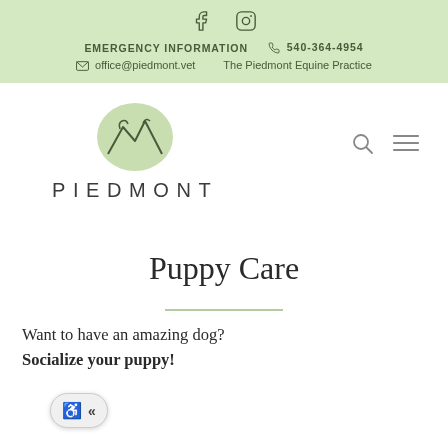EMERGENCY INFORMATION  540-364-4954  office@piedmont.vet  The Piedmont Equine Practice
[Figure (logo): Piedmont Equine Practice logo with mountain/horse line art in green circle and text PIEDMONT below]
Puppy Care
Want to have an amazing dog? Socialize your puppy!